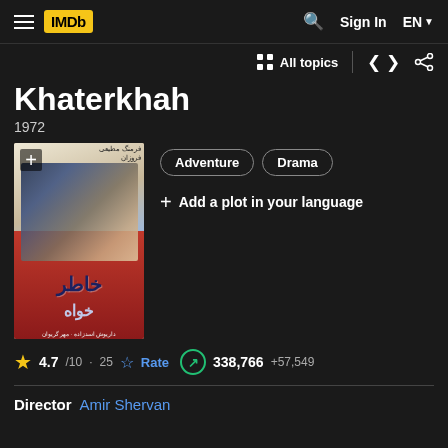IMDb — Sign In EN
All topics
Khaterkhah
1972
[Figure (photo): Movie poster for Khaterkhah (1972) showing a man and Persian text]
Adventure   Drama
+ Add a plot in your language
★ 4.7/10 · 25  ☆ Rate  🔼 338,766 +57,549
Director  Amir Shervan